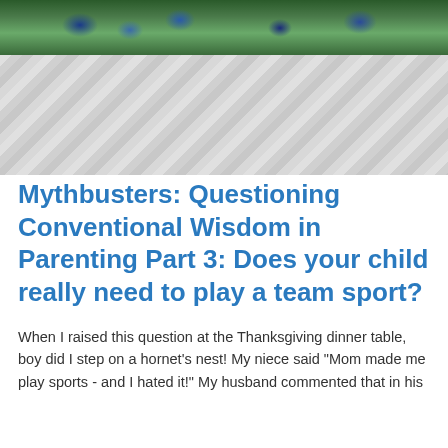[Figure (photo): Top portion of a photo showing children at a sports event, with diagonal stripe pattern below (image partially cropped)]
Mythbusters: Questioning Conventional Wisdom in Parenting Part 3: Does your child really need to play a team sport?
When I raised this question at the Thanksgiving dinner table, boy did I step on a hornet's nest! My niece said "Mom made me play sports - and I hated it!" My husband commented that in his